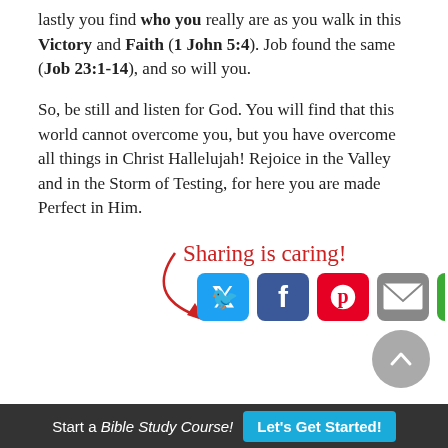lastly you find who you really are as you walk in this Victory and Faith (1 John 5:4). Job found the same (Job 23:1-14), and so will you.
So, be still and listen for God. You will find that this world cannot overcome you, but you have overcome all things in Christ Hallelujah! Rejoice in the Valley and in the Storm of Testing, for here you are made Perfect in Him.
[Figure (infographic): Sharing is caring! text in red script with arrow, and social media icons for Twitter, Facebook, Pinterest, Email, and another sharing service]
You may also like:
Start a Bible Study Course! Let's Get Started!